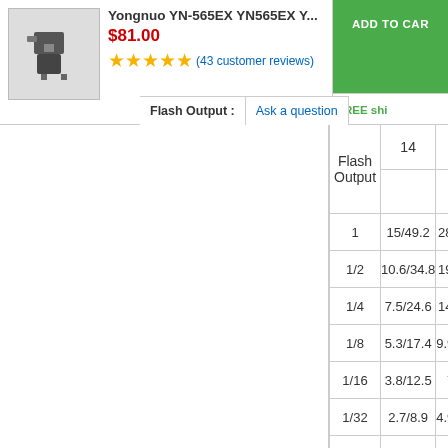Yongnuo YN-565EX YN565EX Y... $81.00 ★★★★★ (43 customer reviews) | Ask a question | ADD TO CART | FREE shipping
| Flash Output | 14 | 24 |
| --- | --- | --- |
| 1 | 15/49.2 | 28/91.9 |
| 1/2 | 10.6/34.8 | 19.8/65 |
| 1/4 | 7.5/24.6 | 14/45.9 |
| 1/8 | 5.3/17.4 | 9.9/32.5 |
| 1/16 | 3.8/12.5 | 7/23 |
| 1/32 | 2.7/8.9 | 4.9/16.1 |
| 1/64 | 1.9/6.2 | 3.5/11.5 |
| 1/128 | 1.3/4.3 | 2.5/8.2 |